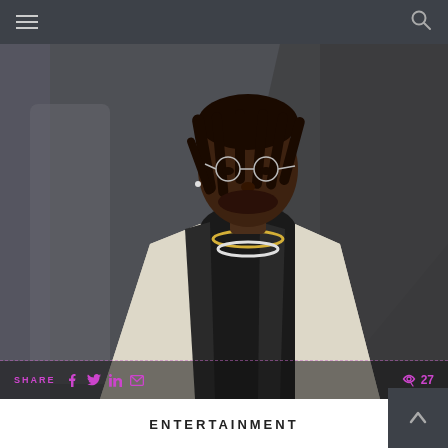Navigation header with hamburger menu and search icon
[Figure (photo): Portrait photo of a Black male musician wearing rimless glasses, dreadlocks, a patterned cream/white blazer, black turtleneck, and layered diamond chain necklaces, against a grey architectural background]
SHARE  27
ENTERTAINMENT